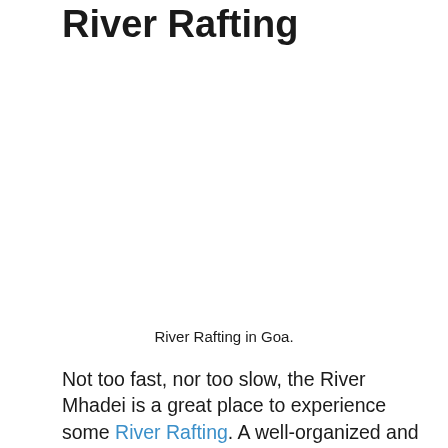River Rafting
[Figure (photo): Photo of River Rafting in Goa — image area is blank/white in this crop]
River Rafting in Goa.
Not too fast, nor too slow, the River Mhadei is a great place to experience some River Rafting. A well-organized and safe adventure sport, river rafting is available only during